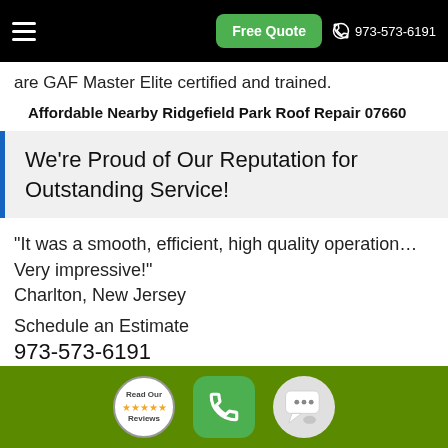Free Quote | 973-573-6191
are GAF Master Elite certified and trained.
Affordable Nearby Ridgefield Park Roof Repair 07660
We're Proud of Our Reputation for Outstanding Service!
“It was a smooth, efficient, high quality operation… Very impressive!”
Charlton, New Jersey
Schedule an Estimate
973-573-6191
Read Our Reviews | phone | chat